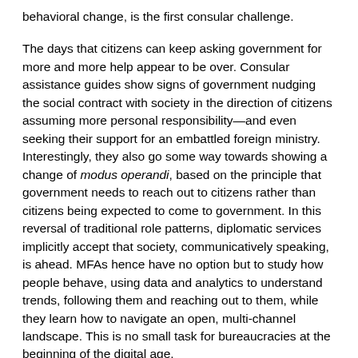behavioral change, is the first consular challenge.
The days that citizens can keep asking government for more and more help appear to be over. Consular assistance guides show signs of government nudging the social contract with society in the direction of citizens assuming more personal responsibility—and even seeking their support for an embattled foreign ministry. Interestingly, they also go some way towards showing a change of modus operandi, based on the principle that government needs to reach out to citizens rather than citizens being expected to come to government. In this reversal of traditional role patterns, diplomatic services implicitly accept that society, communicatively speaking, is ahead. MFAs hence have no option but to study how people behave, using data and analytics to understand trends, following them and reaching out to them, while they learn how to navigate an open, multi-channel landscape. This is no small task for bureaucracies at the beginning of the digital age.
Go Find Your Citizens!